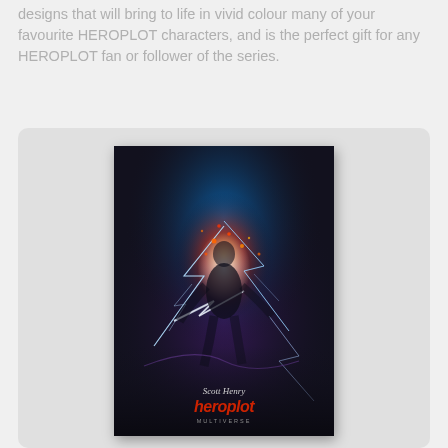designs that will bring to life in vivid colour many of your favourite HEROPLOT characters, and is the perfect gift for any HEROPLOT fan or follower of the series.
[Figure (photo): A framed poster displayed on a light grey wall. The poster features a dark fantasy/sci-fi design with a figure surrounded by electric blue lightning, orange fire, purple energy, and white light bursts on a dark background. At the bottom of the poster is the author name 'Scott Henry' in italic script, below which 'heroplot' appears in bold red italic lettering, and a subtitle in small caps underneath.]